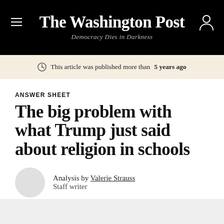The Washington Post — Democracy Dies in Darkness
This article was published more than 5 years ago
ANSWER SHEET
The big problem with what Trump just said about religion in schools
Analysis by Valerie Strauss
Staff writer
June 12, 2017 at 10:30 a.m. EDT